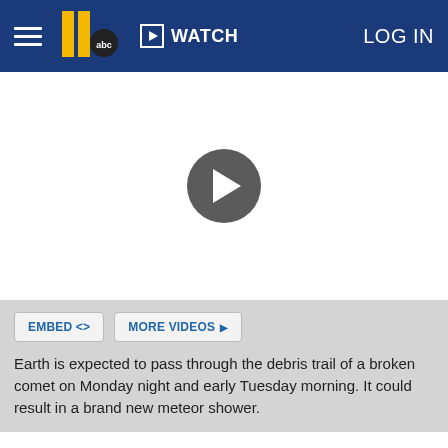WATCH | LOG IN
[Figure (screenshot): Video player with play button circle in center, white background]
EMBED <> | MORE VIDEOS ▶
Earth is expected to pass through the debris trail of a broken comet on Monday night and early Tuesday morning. It could result in a brand new meteor shower.
Earth is expected to pass through the debris trail of a